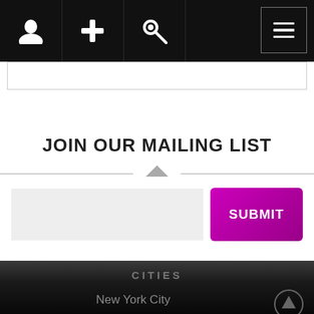Navigation bar with user, add, key icons and hamburger menu
JOIN OUR MAILING LIST
CITIES
New York City